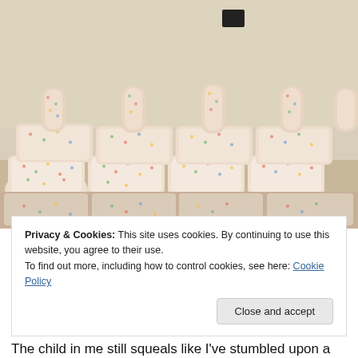[Figure (photo): A large pile of clear plastic bags filled with colorful sprinkles or candy-coated items, arranged in rows against a cream-colored wall. Multiple bags are stacked in a pyramid/grid formation. A dark electrical outlet is visible on the wall near the top center.]
Privacy & Cookies: This site uses cookies. By continuing to use this website, you agree to their use.
To find out more, including how to control cookies, see here: Cookie Policy
Close and accept
The child in me still squeals like I've stumbled upon a